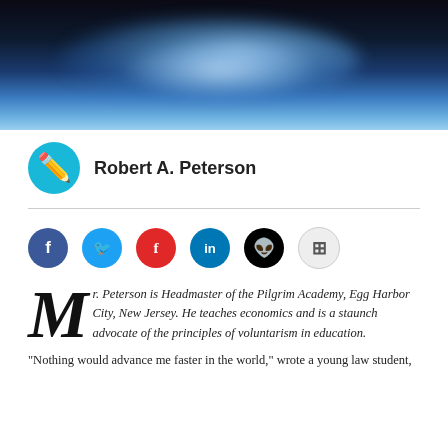[Figure (photo): Dark blue smoke or vapor against a black background, with light blue wispy clouds forming abstract shapes.]
Robert A. Peterson
[Figure (other): Social sharing buttons row: Facebook, Twitter, Flipboard, LinkedIn, Reddit, and a more/share button.]
Mr. Peterson is Headmaster of the Pilgrim Academy, Egg Harbor City, New Jersey. He teaches economics and is a staunch advocate of the principles of voluntarism in education.
“Nothing would advance me faster in the world,” wrote a young law student,